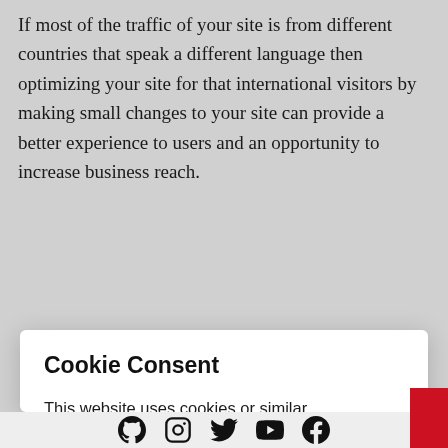If most of the traffic of your site is from different countries that speak a different language then optimizing your site for that international visitors by making small changes to your site can provide a better experience to users and an opportunity to increase business reach.
Cookie Consent
This website uses cookies or similar technologies, to enhance your browsing experience and provide personalized recommendations. By continuing to use our website, you agree to our Privacy Policy
Accept